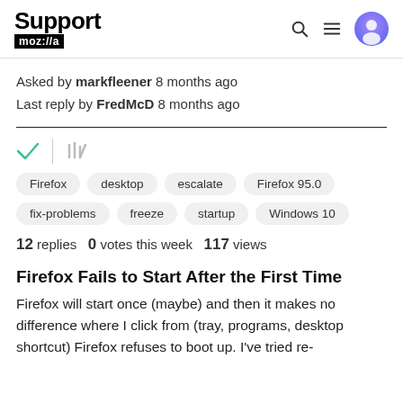Support moz://a
Asked by markfleener 8 months ago
Last reply by FredMcD 8 months ago
[Figure (other): Checkmark icon (green) and stacked lines icon (gray)]
Firefox
desktop
escalate
Firefox 95.0
fix-problems
freeze
startup
Windows 10
12 replies   0 votes this week   117 views
Firefox Fails to Start After the First Time
Firefox will start once (maybe) and then it makes no difference where I click from (tray, programs, desktop shortcut) Firefox refuses to boot up. I've tried re-